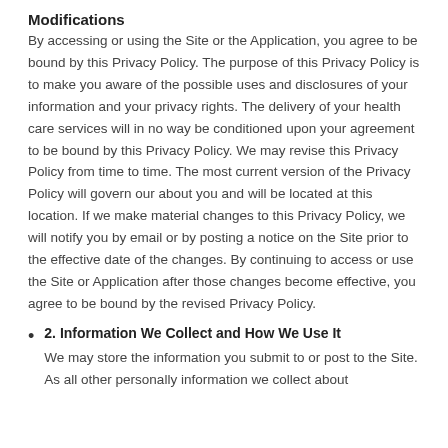Modifications
By accessing or using the Site or the Application, you agree to be bound by this Privacy Policy. The purpose of this Privacy Policy is to make you aware of the possible uses and disclosures of your information and your privacy rights. The delivery of your health care services will in no way be conditioned upon your agreement to be bound by this Privacy Policy. We may revise this Privacy Policy from time to time. The most current version of the Privacy Policy will govern our about you and will be located at this location. If we make material changes to this Privacy Policy, we will notify you by email or by posting a notice on the Site prior to the effective date of the changes. By continuing to access or use the Site or Application after those changes become effective, you agree to be bound by the revised Privacy Policy.
2. Information We Collect and How We Use It
We may store the information you submit to or post to the Site. As all other personally information we collect about...